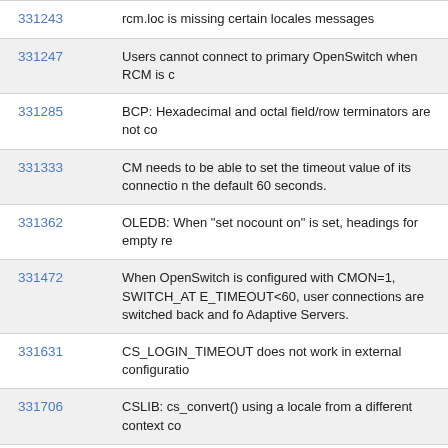| ID | Description |
| --- | --- |
| 331243 | rcm.loc is missing certain locales messages |
| 331247 | Users cannot connect to primary OpenSwitch when RCM is c... |
| 331285 | BCP: Hexadecimal and octal field/row terminators are not co... |
| 331333 | CM needs to be able to set the timeout value of its connection... n the default 60 seconds. |
| 331362 | OLEDB: When "set nocount on" is set, headings for empty re... |
| 331472 | When OpenSwitch is configured with CMON=1, SWITCH_AT E_TIMEOUT<60, user connections are switched back and fo... Adaptive Servers. |
| 331631 | CS_LOGIN_TIMEOUT does not work in external configuratio... |
| 331706 | CSLIB: cs_convert() using a locale from a different context co... |
| 331731 | OLEDB: No cursor deallocation when ADO Recordset object... Close is issued the ASE cursors will be closed and deallocate... |
| 332279 | BCP: When bcp -Y truncates data no error messages are dis... |
| 332294 | OCC cannot process XNL datatype of INT8, 64 bit integer. |
|  | jConnect has changed its default data caching strategy. Whe... hed, jConnect now releases that data to Java's garbage colle... e its own internal memory cache. But, we have found that Ja... |